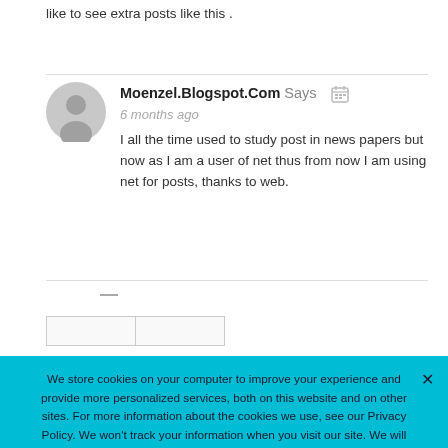like to see extra posts like this .
Moenzel.Blogspot.Com Says  6 months ago
I all the time used to study post in news papers but now as I am a user of net thus from now I am using net for posts, thanks to web.
We store cookies on your computer to improve your experience and provide more personalized services, both on this website and on other sites. For more information about the cookies we use, see our Privacy Policy. We won't track your information when you visit our site. We will have to use at least one cookie to ensure that you won't have to make this choice again.
Accept   Decline   Privacy Policy